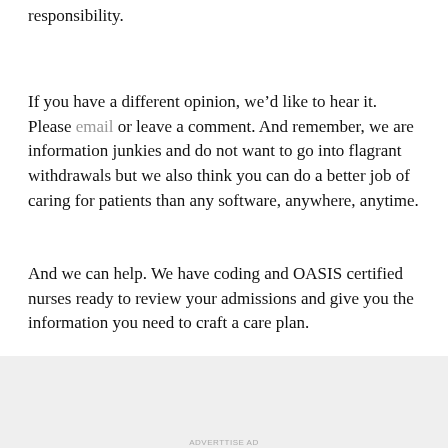responsibility.
If you have a different opinion, we’d like to hear it. Please email or leave a comment. And remember, we are information junkies and do not want to go into flagrant withdrawals but we also think you can do a better job of caring for patients than any software, anywhere, anytime.
And we can help. We have coding and OASIS certified nurses ready to review your admissions and give you the information you need to craft a care plan.
Share this:
[Figure (infographic): Advertisement banner: left side white background with bold text 'The first rule of Startup School?', right side dark navy background with bold white text 'Ask questions.' and WordPress and startup school logos]